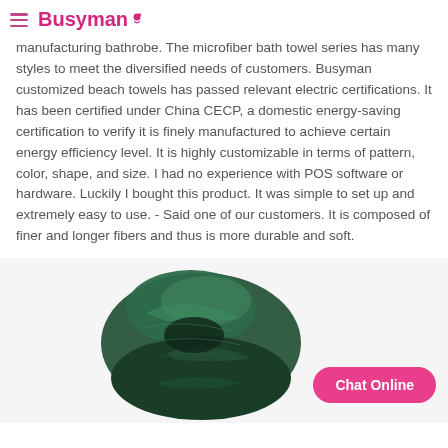Busyman
manufacturing bathrobe. The microfiber bath towel series has many styles to meet the diversified needs of customers. Busyman customized beach towels has passed relevant electric certifications. It has been certified under China CECP, a domestic energy-saving certification to verify it is finely manufactured to achieve certain energy efficiency level. It is highly customizable in terms of pattern, color, shape, and size. I had no experience with POS software or hardware. Luckily I bought this product. It was simple to set up and extremely easy to use. - Said one of our customers. It is composed of finer and longer fibers and thus is more durable and soft.
[Figure (photo): A dark green twisted/bunched towel or fabric piece on a white background]
Chat Online